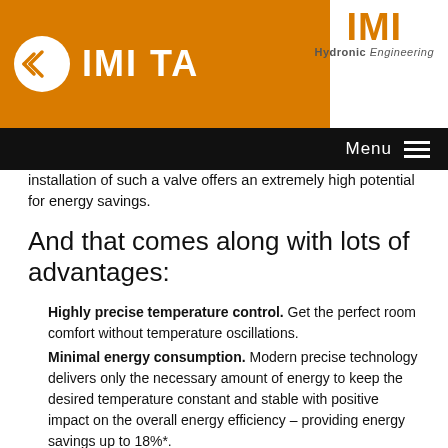IMI TA | IMI Hydronic Engineering | Menu
installation of such a valve offers an extremely high potential for energy savings.
And that comes along with lots of advantages:
Highly precise temperature control. Get the perfect room comfort without temperature oscillations.
Minimal energy consumption. Modern precise technology delivers only the necessary amount of energy to keep the desired temperature constant and stable with positive impact on the overall energy efficiency – providing energy savings up to 18%*.
A quiet and reliable system without customer complaints. Accurate control provides the desired comfort and reduces total flow in the installation which helps to minimize the risk of noisy operations.